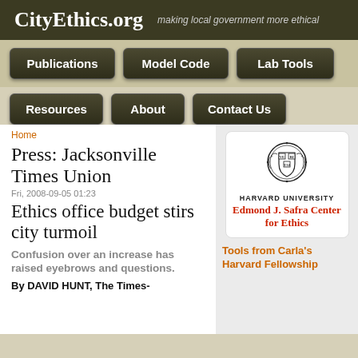CityEthics.org — making local government more ethical
Publications
Model Code
Lab Tools
Resources
About
Contact Us
Home
Press: Jacksonville Times Union
Fri, 2008-09-05 01:23
Ethics office budget stirs city turmoil
Confusion over an increase has raised eyebrows and questions.
By DAVID HUNT, The Times-
[Figure (logo): Harvard University Edmond J. Safra Center for Ethics logo with Harvard seal]
Tools from Carla's Harvard Fellowship